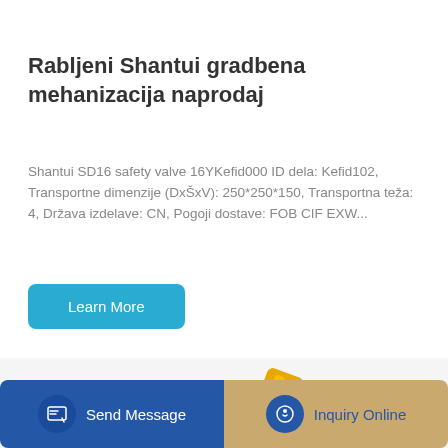Rabljeni Shantui gradbena mehanizacija naprodaj
Shantui SD16 safety valve 16YKefid000 ID dela: Kefid102, Transportne dimenzije (DxŠxV): 250*250*150, Transportna teža: 4, Država izdelave: CN, Pogoji dostave: FOB CIF EXW...
[Figure (photo): Yellow SANY excavator arm and cab photographed from below against white background, bottom portion of page]
Send Message
Inquiry Online